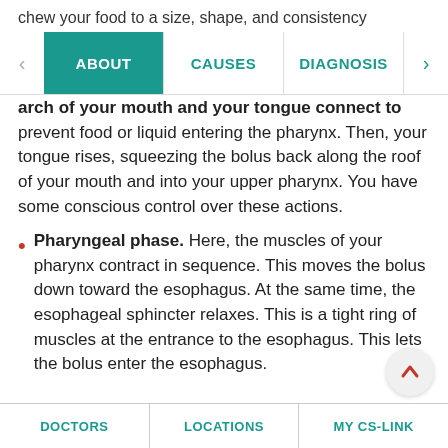chew your food to a size, shape, and consistency
ABOUT | CAUSES | DIAGNOSIS
arch of your mouth and your tongue connect to prevent food or liquid entering the pharynx. Then, your tongue rises, squeezing the bolus back along the roof of your mouth and into your upper pharynx. You have some conscious control over these actions.
Pharyngeal phase. Here, the muscles of your pharynx contract in sequence. This moves the bolus down toward the esophagus. At the same time, the esophageal sphincter relaxes. This is a tight ring of muscles at the entrance to the esophagus. This lets the bolus enter the esophagus.
DOCTORS | LOCATIONS | MY CS-LINK